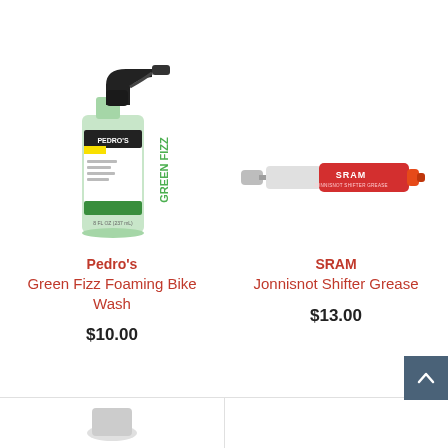[Figure (photo): Pedro's Green Fizz Foaming Bike Wash spray bottle with black trigger sprayer and green label]
Pedro's
Green Fizz Foaming Bike Wash
$10.00
[Figure (photo): SRAM Jonnisnot Shifter Grease syringe with red label and cap]
SRAM
Jonnisnot Shifter Grease
$13.00